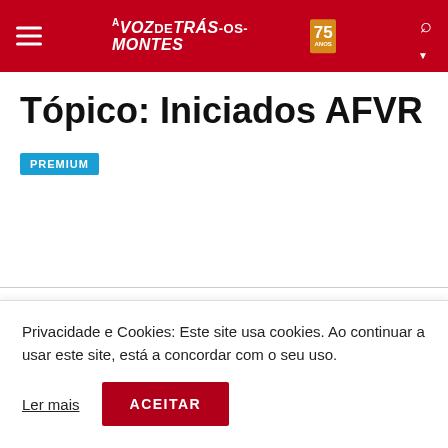VOZ DE TRÁS-OS-MONTES 75
Tópico: Iniciados AFVR
PREMIUM
Privacidade e Cookies: Este site usa cookies. Ao continuar a usar este site, está a concordar com o seu uso.
Ler mais   ACEITAR